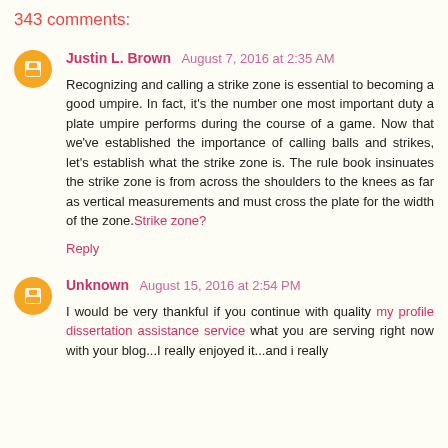343 comments:
Justin L. Brown  August 7, 2016 at 2:35 AM
Recognizing and calling a strike zone is essential to becoming a good umpire. In fact, it's the number one most important duty a plate umpire performs during the course of a game. Now that we've established the importance of calling balls and strikes, let's establish what the strike zone is. The rule book insinuates the strike zone is from across the shoulders to the knees as far as vertical measurements and must cross the plate for the width of the zone. Strike zone?
Reply
Unknown  August 15, 2016 at 2:54 PM
I would be very thankful if you continue with quality my profile dissertation assistance service what you are serving right now with your blog...I really enjoyed it...and i really